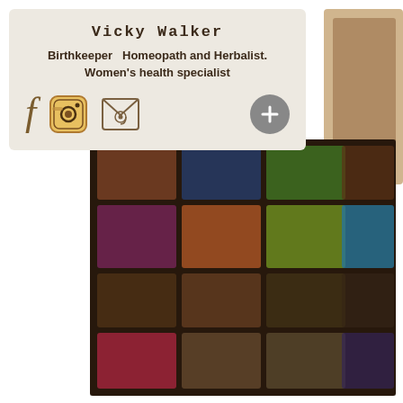[Figure (screenshot): Blurred background showing a grid of colorful app icons or photo thumbnails]
Vicky Walker
Birthkeeper  Homeopath and Herbalist. Women's health specialist
[Figure (infographic): Social media icons: Facebook (f), Instagram camera, email envelope, and a grey plus button]